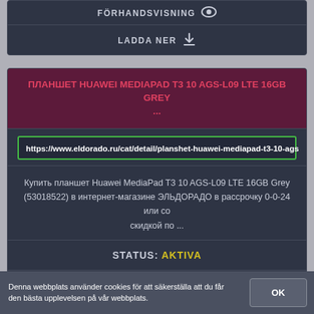FÖRHANDSVISNING 👁
LADDA NER ⬇
ПЛАНШЕТ HUAWEI MEDIAPAD T3 10 AGS-L09 LTE 16GB GREY ...
https://www.eldorado.ru/cat/detail/planshet-huawei-mediapad-t3-10-ags
Купить планшет Huawei MediaPad T3 10 AGS-L09 LTE 16GB Grey (53018522) в интернет-магазине ЭЛЬДОРАДО в рассрочку 0-0-24 или со скидкой по ...
STATUS: AKTIVA
FÖRHANDSVISNING 👁
LADDA NER ⬇
Denna webbplats använder cookies för att säkerställa att du får den bästa upplevelsen på vår webbplats.